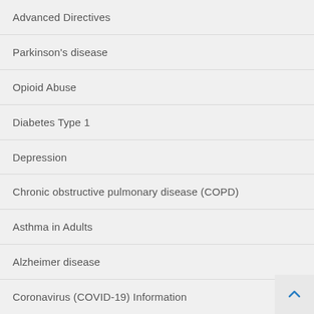Advanced Directives
Parkinson's disease
Opioid Abuse
Diabetes Type 1
Depression
Chronic obstructive pulmonary disease (COPD)
Asthma in Adults
Alzheimer disease
Coronavirus (COVID-19) Information